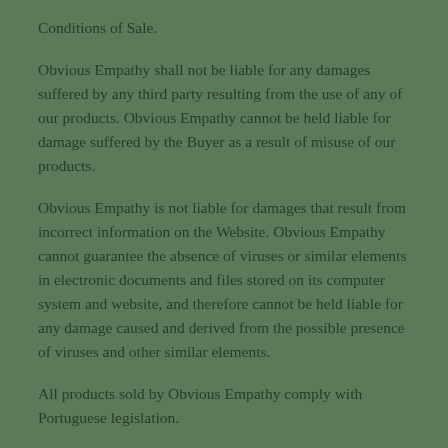Conditions of Sale.
Obvious Empathy shall not be liable for any damages suffered by any third party resulting from the use of any of our products. Obvious Empathy cannot be held liable for damage suffered by the Buyer as a result of misuse of our products.
Obvious Empathy is not liable for damages that result from incorrect information on the Website. Obvious Empathy cannot guarantee the absence of viruses or similar elements in electronic documents and files stored on its computer system and website, and therefore cannot be held liable for any damage caused and derived from the possible presence of viruses and other similar elements.
All products sold by Obvious Empathy comply with Portuguese legislation.
Obvious Empathy declines any responsibility in case of